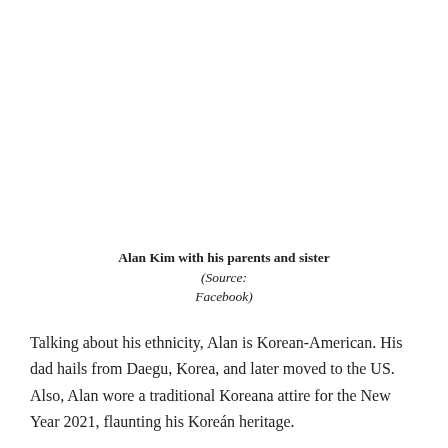Alan Kim with his parents and sister (Source: Facebook)
Talking about his ethnicity, Alan is Korean-American. His dad hails from Daegu, Korea, and later moved to the US. Also, Alan wore a traditional Koreana attire for the New Year 2021, flaunting his Koreán heritage.